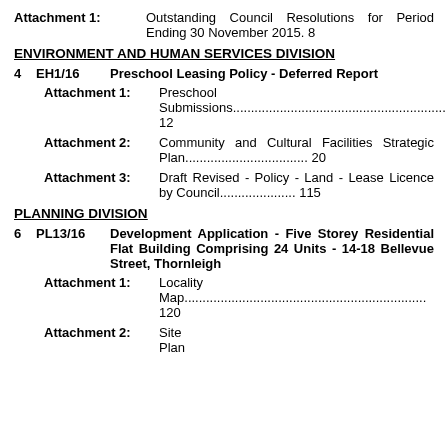Attachment 1: Outstanding Council Resolutions for Period Ending 30 November 2015. 8
ENVIRONMENT AND HUMAN SERVICES DIVISION
4   EH1/16   Preschool Leasing Policy - Deferred Report
Attachment 1: Preschool Submissions....................................................12
Attachment 2: Community and Cultural Facilities Strategic Plan.................................. 20
Attachment 3: Draft Revised - Policy - Land - Lease Licence by Council..................... 115
PLANNING DIVISION
6   PL13/16   Development Application - Five Storey Residential Flat Building Comprising 24 Units - 14-18 Bellevue Street, Thornleigh
Attachment 1: Locality Map...............................................................120
Attachment 2: Site Plan